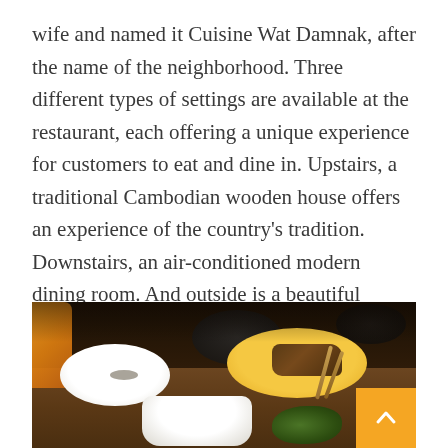wife and named it Cuisine Wat Damnak, after the name of the neighborhood. Three different types of settings are available at the restaurant, each offering a unique experience for customers to eat and dine in. Upstairs, a traditional Cambodian wooden house offers an experience of the country's tradition. Downstairs, an air-conditioned modern dining room. And outside is a beautiful garden great for a dinner under the sky.
[Figure (photo): A dark, moody restaurant/kitchen scene showing dishes on a wooden table: a white plate with grey powder/spice on the left, a yellow plate with dark food items and tongs in the center-right, an orange cloth napkin on the far left, a white bowl in the foreground center, and green herbs to the right. Dark cooking pots/pans visible in the blurred background. A yellow/orange scroll-to-top button with a white upward chevron is visible in the bottom-right corner.]